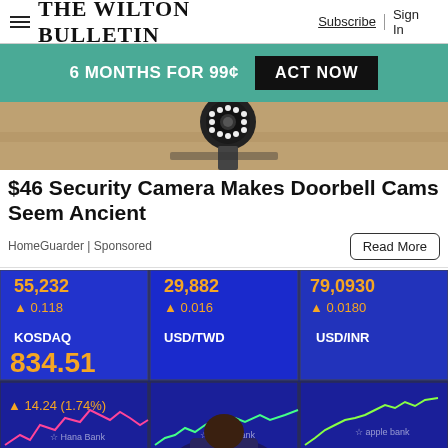The Wilton Bulletin | Subscribe | Sign In
6 MONTHS FOR 99¢ ACT NOW
[Figure (photo): Security camera mounted on a wall, close-up shot]
$46 Security Camera Makes Doorbell Cams Seem Ancient
HomeGuarder | Sponsored
Read More
[Figure (photo): Stock market trading screens showing KOSDAQ 834.51 up 14.24 (1.74%), USD/TWD, USD/INR currency rates with financial data displays]